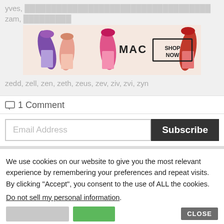yves, zam,
[Figure (photo): MAC Cosmetics advertisement banner showing colorful lipsticks (purple, pink, coral, red) with MAC logo and SHOP NOW button]
zedd, zell, zen, zeth, zeus, zev, ziv, zvi, zyn
1 Comment
Email Address
Subscribe
We use cookies on our website to give you the most relevant experience by remembering your preferences and repeat visits. By clicking "Accept", you consent to the use of ALL the cookies.
Do not sell my personal information.
CLOSE